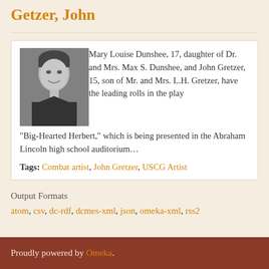Getzer, John
[Figure (photo): Black and white portrait photo of a young man smiling, wearing a suit and tie]
Mary Louise Dunshee, 17, daughter of Dr. and Mrs. Max S. Dunshee, and John Gretzer, 15, son of Mr. and Mrs. L.H. Gretzer, have the leading rolls in the play "Big-Hearted Herbert," which is being presented in the Abraham Lincoln high school auditorium…
Tags: Combat artist, John Gretzer, USCG Artist
Output Formats
atom, csv, dc-rdf, dcmes-xml, json, omeka-xml, rss2
Proudly powered by Omeka.